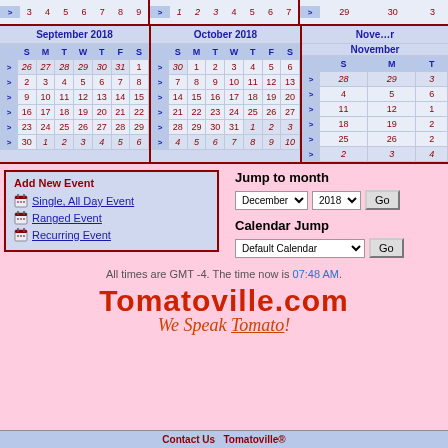|  | S | M | T | W | T | F | S |
| --- | --- | --- | --- | --- | --- | --- | --- |
| > | 26 | 27 | 28 | 29 | 30 | 31 | 1 |
| > | 2 | 3 | 4 | 5 | 6 | 7 | 8 |
| > | 9 | 10 | 11 | 12 | 13 | 14 | 15 |
| > | 16 | 17 | 18 | 19 | 20 | 21 | 22 |
| > | 23 | 24 | 25 | 26 | 27 | 28 | 29 |
| > | 30 | 1 | 2 | 3 | 4 | 5 | 6 |
|  | S | M | T | W | T | F | S |
| --- | --- | --- | --- | --- | --- | --- | --- |
| > | 30 | 1 | 2 | 3 | 4 | 5 | 6 |
| > | 7 | 8 | 9 | 10 | 11 | 12 | 13 |
| > | 14 | 15 | 16 | 17 | 18 | 19 | 20 |
| > | 21 | 22 | 23 | 24 | 25 | 26 | 27 |
| > | 28 | 29 | 30 | 31 | 1 | 2 | 3 |
| > | 4 | 5 | 6 | 7 | 8 | 9 | 10 |
|  | S | M | T |
| --- | --- | --- | --- |
| > | 28 | 29 | 3 |
| > | 4 | 5 | 6 |
| > | 11 | 12 | 1 |
| > | 18 | 19 | 2 |
| > | 25 | 26 | 2 |
| > | 2 | 3 | 4 |
Add New Event
Single, All Day Event
Ranged Event
Recurring Event
Jump to month
Calendar Jump
All times are GMT -4. The time now is 07:48 AM.
Tomatoville.com We Speak Tomato!
Contact Us   Tomatoville®